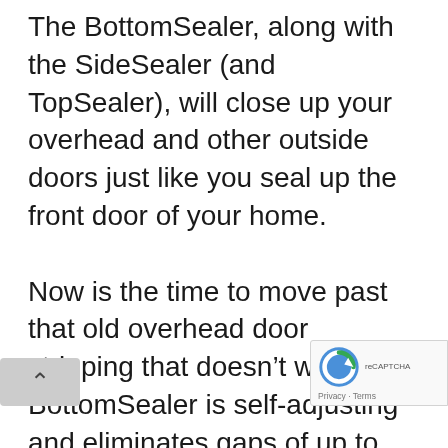The BottomSealer, along with the SideSealer (and TopSealer), will close up your overhead and other outside doors just like you seal up the front door of your home.

Now is the time to move past that old overhead door stripping that doesn't work. The BottomSealer is self-adjusting and eliminates gaps of up to two inches – and you don't have to replace your current seal. The Kevlar-reinforced material will not wear out and mice, along with other critters, will not che through it! The system is easy to ins